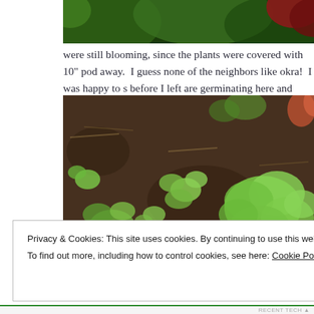[Figure (photo): Top partial photo showing dark green and red plant foliage against dark background]
were still blooming, since the plants were covered with 10" pod away.  I guess none of the neighbors like okra!  I was happy to s before I left are germinating here and there in small patches whe
[Figure (photo): Garden bed with small green seedlings (lettuce or similar plants) germinating in dark soil with mulch]
Privacy & Cookies: This site uses cookies. By continuing to use this website, you agree to their use.
To find out more, including how to control cookies, see here: Cookie Policy
Close and accept